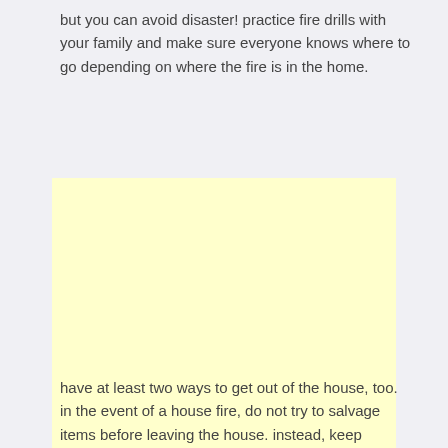but you can avoid disaster! practice fire drills with your family and make sure everyone knows where to go depending on where the fire is in the home.
[Figure (other): Large light yellow rectangular block, likely an advertisement or image placeholder.]
have at least two ways to get out of the house, too. in the event of a house fire, do not try to salvage items before leaving the house. instead, keep